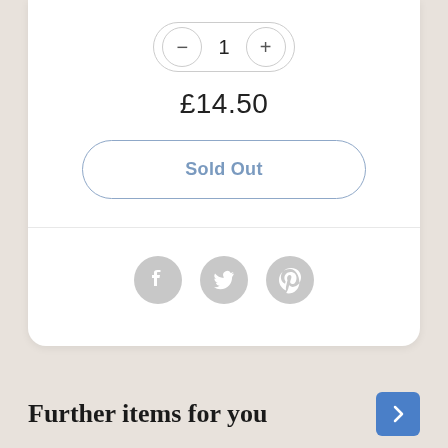1
£14.50
Sold Out
[Figure (other): Social media share icons: Facebook, Twitter, Pinterest — grey circular buttons]
Further items for you